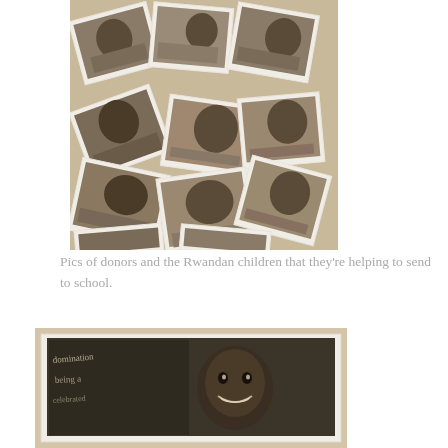[Figure (photo): A collage of black-and-white/sepia photographs scattered on a surface, showing Rwandan children and donors holding photos, arranged in an overlapping pile]
Pics of donors and the Rwandan children that they're helping to send to school.
[Figure (photo): A close-up sepia photograph of a Rwandan child smiling in front of a chalkboard with text including 'domination' and 'being a...']